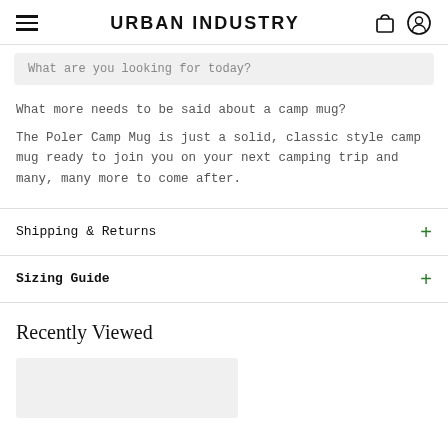URBAN INDUSTRY
What are you looking for today?
What more needs to be said about a camp mug?
The Poler Camp Mug is just a solid, classic style camp mug ready to join you on your next camping trip and many, many more to come after.
Shipping & Returns
Sizing Guide
Recently Viewed